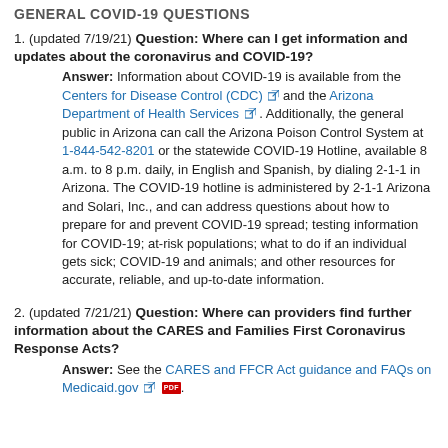GENERAL COVID-19 QUESTIONS
1. (updated 7/19/21) Question: Where can I get information and updates about the coronavirus and COVID-19? Answer: Information about COVID-19 is available from the Centers for Disease Control (CDC) and the Arizona Department of Health Services. Additionally, the general public in Arizona can call the Arizona Poison Control System at 1-844-542-8201 or the statewide COVID-19 Hotline, available 8 a.m. to 8 p.m. daily, in English and Spanish, by dialing 2-1-1 in Arizona. The COVID-19 hotline is administered by 2-1-1 Arizona and Solari, Inc., and can address questions about how to prepare for and prevent COVID-19 spread; testing information for COVID-19; at-risk populations; what to do if an individual gets sick; COVID-19 and animals; and other resources for accurate, reliable, and up-to-date information.
2. (updated 7/21/21) Question: Where can providers find further information about the CARES and Families First Coronavirus Response Acts? Answer: See the CARES and FFCR Act guidance and FAQs on Medicaid.gov.